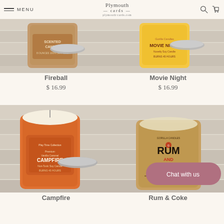MENU | Plymouth Cards | Search | Cart
[Figure (photo): Fireball scented candle in a tin with lid open, brown/tan label on wooden background]
Fireball
$ 16.99
[Figure (photo): Movie Night scented candle in a yellow tin with lid open, on wooden background]
Movie Night
$ 16.99
[Figure (photo): Campfire vanilla scented candle in orange tin with lid open, Play Time Collection, on wooden background]
Campfire
[Figure (photo): Rum & Coke scented candle in kraft/tan tin with lid open, on wooden background]
Rum & Coke